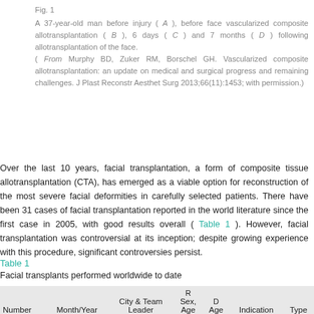Fig. 1
A 37-year-old man before injury ( A ), before face vascularized composite allotransplantation ( B ), 6 days ( C ) and 7 months ( D ) following allotransplantation of the face.
( From Murphy BD, Zuker RM, Borschel GH. Vascularized composite allotransplantation: an update on medical and surgical progress and remaining challenges. J Plast Reconstr Aesthet Surg 2013;66(11):1453; with permission.)
Over the last 10 years, facial transplantation, a form of composite tissue allotransplantation (CTA), has emerged as a viable option for reconstruction of the most severe facial deformities in carefully selected patients. There have been 31 cases of facial transplantation reported in the world literature since the first case in 2005, with good results overall ( Table 1 ). However, facial transplantation was controversial at its inception; despite growing experience with this procedure, significant controversies persist.
Table 1
Facial transplants performed worldwide to date
| Number | Month/Year | City & Team Leader | R Sex, Age | D Age | Indication | Type |
| --- | --- | --- | --- | --- | --- | --- |